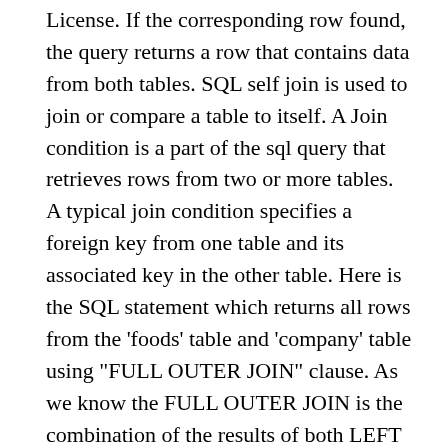License. If the corresponding row found, the query returns a row that contains data from both tables. SQL self join is used to join or compare a table to itself. A Join condition is a part of the sql query that retrieves rows from two or more tables. A typical join condition specifies a foreign key from one table and its associated key in the other table. Here is the SQL statement which returns all rows from the 'foods' table and 'company' table using "FULL OUTER JOIN" clause. As we know the FULL OUTER JOIN is the combination of the results of both LEFT OUTER JOIN and RIGHT OUTER JOIN, so, here we are going to describe how FULL OUTER JOIN perform internally. I have to join two tables with common words. Microsoft